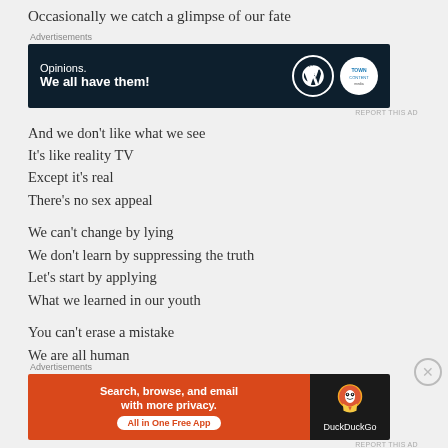Occasionally we catch a glimpse of our fate
[Figure (other): Advertisement banner: 'Opinions. We all have them!' with WordPress and TownContent logos on dark navy background]
And we don't like what we see
It's like reality TV
Except it's real
There's no sex appeal

We can't change by lying
We don't learn by suppressing the truth
Let's start by applying
What we learned in our youth

You can't erase a mistake
We are all human
[Figure (other): DuckDuckGo advertisement: 'Search, browse, and email with more privacy. All in One Free App' on orange and dark background]